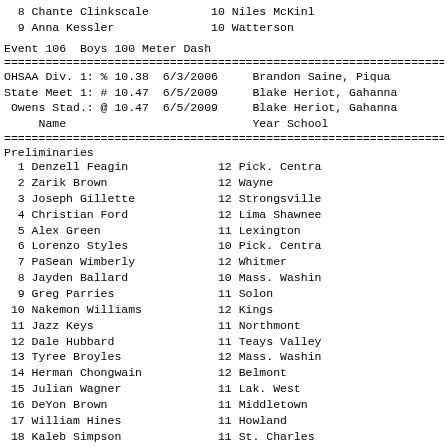8 Chante Clinkscale         10 Niles McKinl
9 Anna Kessler              10 Watterson
Event 106  Boys 100 Meter Dash
OHSAA Div. 1: % 10.38  6/3/2006     Brandon Saine, Piqua
State Meet 1: # 10.47  6/5/2009     Blake Heriot, Gahanna
 Owens Stad.: @ 10.47  6/5/2009     Blake Heriot, Gahanna
     Name                           Year School
Preliminaries
1 Denzell Feagin             12 Pick. Centra
2 Zarik Brown                12 Wayne
3 Joseph Gillette            12 Strongsville
4 Christian Ford             12 Lima Shawnee
5 Alex Green                 11 Lexington
6 Lorenzo Styles             10 Pick. Centra
7 PaSean Wimberly            12 Whitmer
8 Jayden Ballard             10 Mass. Washin
9 Greg Parries               11 Solon
10 Nakemon Williams           12 Kings
11 Jazz Keys                  11 Northmont
12 Dale Hubbard               11 Teays Valley
13 Tyree Broyles              12 Mass. Washin
14 Herman Chongwain           12 Belmont
15 Julian Wagner              11 Lak. West
16 DeYon Brown                11 Middletown
17 William Hines              11 Howland
18 Kaleb Simpson              11 St. Charles